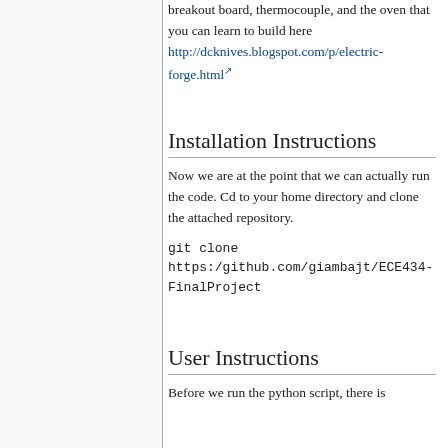breakout board, thermocouple, and the oven that you can learn to build here http://dcknives.blogspot.com/p/electric-forge.html
Installation Instructions
Now we are at the point that we can actually run the code. Cd to your home directory and clone the attached repository.
git clone https:/github.com/giambajt/ECE434-FinalProject
User Instructions
Before we run the python script, there is